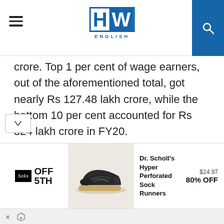HW ENGLISH
crore. Top 1 per cent of wage earners, out of the aforementioned total, got nearly Rs 127.48 lakh crore, while the bottom 10 per cent accounted for Rs 324 lakh crore in FY20.
This difference in income distribution, according to the report, resulted in top 1 per cent earning more than thrice as
[Figure (other): Advertisement banner: Saks OFF 5TH promotion for Dr. Scholl's Hyper Perforated Sock Runners at $24.97, 80% OFF]